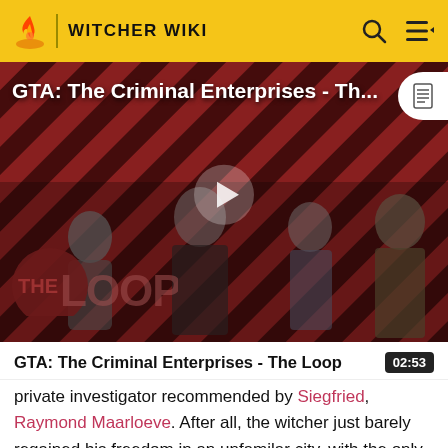WITCHER WIKI
[Figure (screenshot): Video thumbnail for 'GTA: The Criminal Enterprises - The Loop' showing GTA characters on a red diagonal-striped background with THE LOOP logo and a play button overlay.]
GTA: The Criminal Enterprises - The Loop
private investigator recommended by Siegfried, Raymond Maarloeve. After all, the witcher just barely regained his freedom in an unfamilar city, with the only suspect being